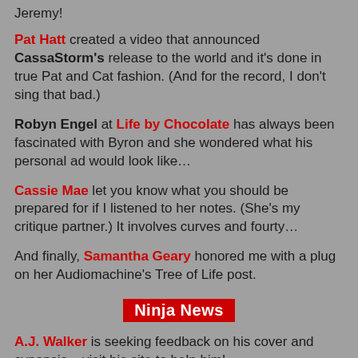Jeremy!
Pat Hatt created a video that announced CassaStorm's release to the world and it's done in true Pat and Cat fashion. (And for the record, I don't sing that bad.)
Robyn Engel at Life by Chocolate has always been fascinated with Byron and she wondered what his personal ad would look like…
Cassie Mae let you know what you should be prepared for if I listened to her notes. (She's my critique partner.) It involves curves and fourty…
And finally, Samantha Geary honored me with a plug on her Audiomachine's Tree of Life post.
Ninja News
A.J. Walker is seeking feedback on his cover and synopsis – visit his site to help him!